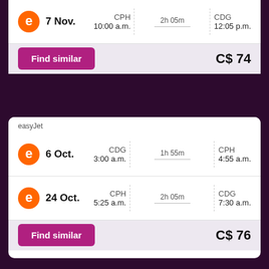[Figure (screenshot): Flight search result card 1: easyJet flight on 7 Nov, CPH 10:00 a.m. to CDG 12:05 p.m., duration 2h 05m, price C$ 74, Find similar button]
easyJet
[Figure (screenshot): Flight search result card 2: easyJet, outbound 6 Oct CDG 3:00 a.m. to CPH 4:55 a.m. (1h 55m), return 24 Oct CPH 5:25 a.m. to CDG 7:30 a.m. (2h 05m), price C$ 76, Find similar button]